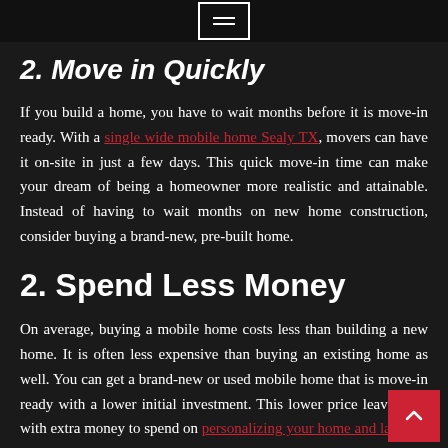= (hamburger menu icon)
2. Move in Quickly
If you build a home, you have to wait months before it is move-in ready. With a single wide mobile home Sealy TX, movers can have it on-site in just a few days. This quick move-in time can make your dream of being a homeowner more realistic and attainable. Instead of having to wait months on new home construction, consider buying a brand-new, pre-built home.
2. Spend Less Money
On average, buying a mobile home costs less than building a new home. It is often less expensive than buying an existing home as well. You can get a brand-new or used mobile home that is move-in ready with a lower initial investment. This lower price leaves you with extra money to spend on personalizing your home and lawn.